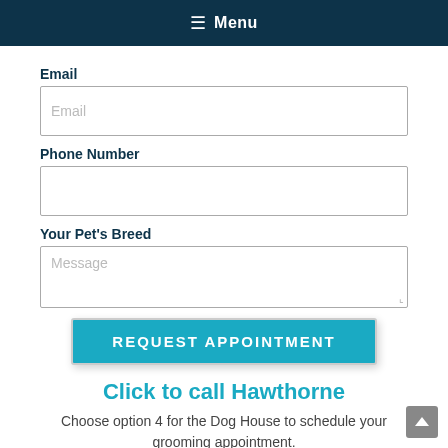≡ Menu
Email
Email (placeholder)
Phone Number
Your Pet's Breed
Message (placeholder)
REQUEST APPOINTMENT
Click to call Hawthorne
Choose option 4 for the Dog House to schedule your grooming appointment.